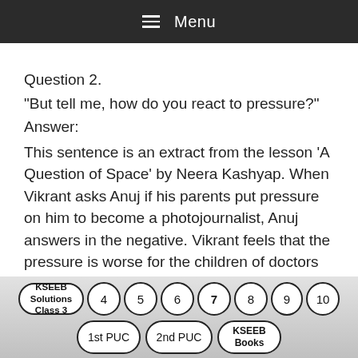≡ Menu
Question 2.
"But tell me, how do you react to pressure?"
Answer:
This sentence is an extract from the lesson 'A Question of Space' by Neera Kashyap. When Vikrant asks Anuj if his parents put pressure on him to become a photojournalist, Anuj answers in the negative. Vikrant feels that the pressure is worse for the children of doctors because medicine is considered the noblest among all professions and therefore gets prestige. So he asks Anuj how he reacts to such pressure.
KSEEB Solutions Class 3  4  5  6  7  8  9  10  1st PUC  2nd PUC  KSEEB Books